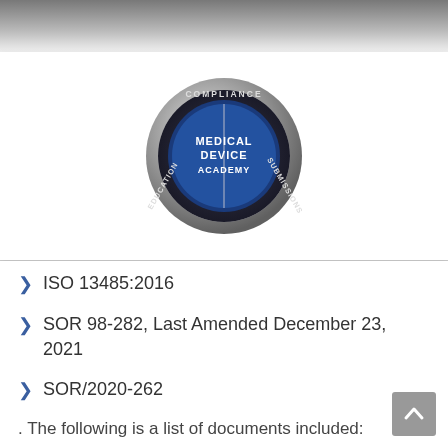[Figure (logo): Medical Device Academy circular badge/logo with silver ring. Text around the ring reads COMPLIANCE at top, EDUCATION at lower left, SUBMISSIONS at lower right. Center blue circle reads MEDICAL DEVICE ACADEMY.]
ISO 13485:2016
SOR 98-282, Last Amended December 23, 2021
SOR/2020-262
. The following is a list of documents included:
SYS-035 A, Incident Reporting Procedure